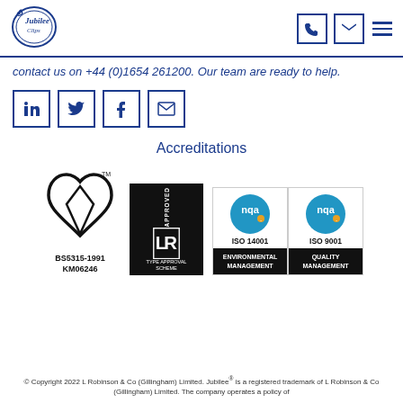[Figure (logo): Jubilee Clips logo - circular emblem with stylized J and text]
contact us on +44 (0)1654 261200. Our team are ready to help.
[Figure (infographic): Social media icons: LinkedIn, Twitter, Facebook, Email]
Accreditations
[Figure (logo): BSI Kitemark logo with text BS5315-1991 KM06246]
[Figure (logo): Lloyd's Register APPROVED TYPE APPROVAL SCHEME logo]
[Figure (logo): NQA ISO 14001 Environmental Management logo]
[Figure (logo): NQA ISO 9001 Quality Management logo]
© Copyright 2022 L Robinson & Co (Gillingham) Limited. Jubilee® is a registered trademark of L Robinson & Co (Gillingham) Limited. The company operates a policy of continuous improvement and reserves the right to change specifications without notice.